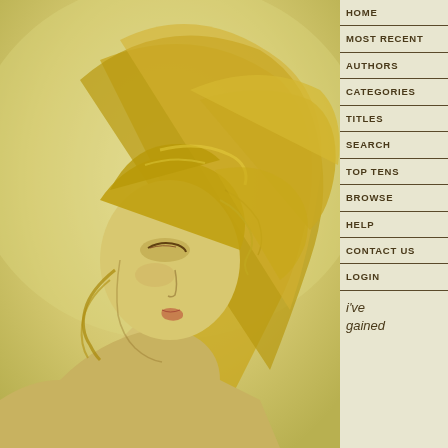[Figure (illustration): Digital painting of a woman with long flowing golden/blonde hair, facing left in profile view, with a golden-yellow color palette. The figure has bare shoulders and the background is a warm yellow-green.]
HOME
MOST RECENT
AUTHORS
CATEGORIES
TITLES
SEARCH
TOP TENS
BROWSE
HELP
CONTACT US
LOGIN
i've gained